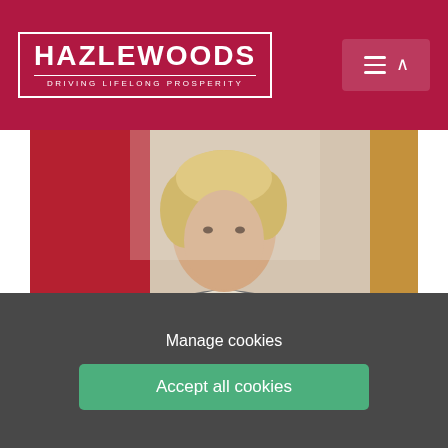HAZLEWOODS — DRIVING LIFELONG PROSPERITY
[Figure (photo): Profile photo of Suzanne Headington, a woman with blonde hair wearing a grey and red patterned top, photographed in an office setting]
Suzanne Headington
Partner
View profile
[Figure (photo): Partial photo of a second person with dark hair, cropped at bottom of page]
Manage cookies
Accept all cookies